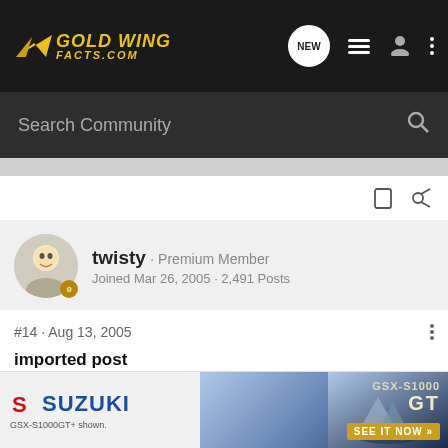GOLD WING FACTS.COM — navigation header with search bar
twisty · Premium Member
Joined Mar 26, 2005 · 2,491 Posts
#14 · Aug 13, 2005
imported post
American (FM) radio stations transmit between (88 megahertz) and (108 megahertz).. That particular bandwas chosen by the FCC (I have no idea why that band), each station owns a 200-kilohertz [slice] ... varies. So there ... megah...
[Figure (advertisement): Suzuki GSX-S1000GT+ advertisement banner with motorcycle image, blue mountain background, and 'SEE IT NOW' call to action]